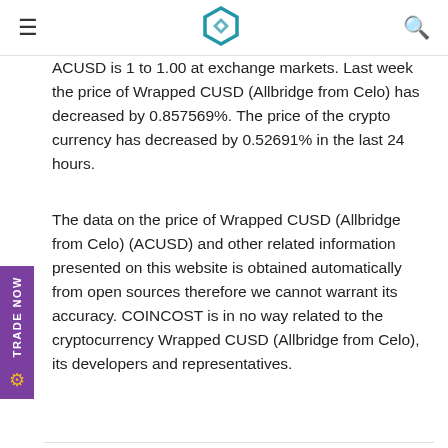≡  [logo]  Q
ACUSD is 1 to 1.00 at exchange markets. Last week the price of Wrapped CUSD (Allbridge from Celo) has decreased by 0.857569%. The price of the crypto currency has decreased by 0.52691% in the last 24 hours.
The data on the price of Wrapped CUSD (Allbridge from Celo) (ACUSD) and other related information presented on this website is obtained automatically from open sources therefore we cannot warrant its accuracy. COINCOST is in no way related to the cryptocurrency Wrapped CUSD (Allbridge from Celo), its developers and representatives.
|  |  |
| --- | --- |
| Wrapped CUSD
(Allbridge from Celo)
price | 0.0000499631
0.9949 |